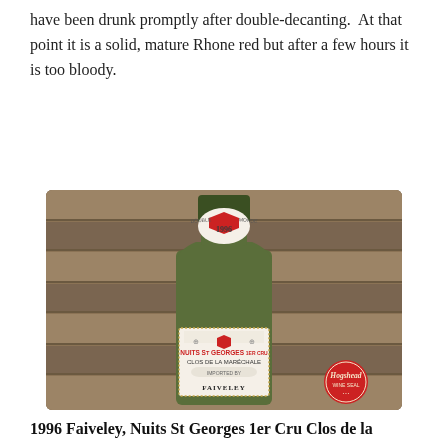have been drunk promptly after double-decanting.  At that point it is a solid, mature Rhone red but after a few hours it is too bloody.
[Figure (photo): Photo of a 1996 Faiveley Nuits St Georges 1er Cru Clos de la Maréchale wine bottle against a wooden background, showing the bottle label with a red shield crest and the text 'NUITS ST GEORGES 1er CRU CLOS DE LA MARÉCHALE FAIVELEY' and a Hogshead sticker in the bottom right corner.]
1996 Faiveley, Nuits St Georges 1er Cru Clos de la